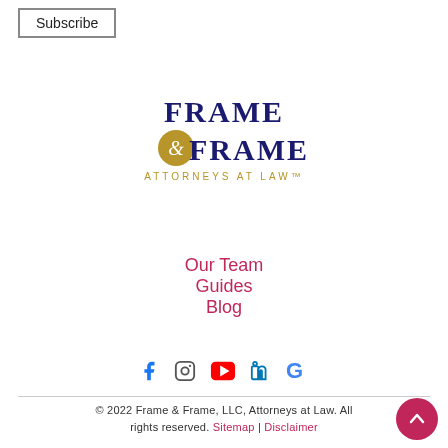Subscribe
[Figure (logo): Frame & Frame Attorneys at Law logo — dark navy text 'FRAME & FRAME' with gold circular ampersand emblem and gold 'ATTORNEYS AT LAW' subtitle]
Our Team
Guides
Blog
[Figure (other): Social media icons: Facebook, Instagram, YouTube, LinkedIn, Google]
© 2022 Frame & Frame, LLC, Attorneys at Law. All rights reserved. Sitemap | Disclaimer